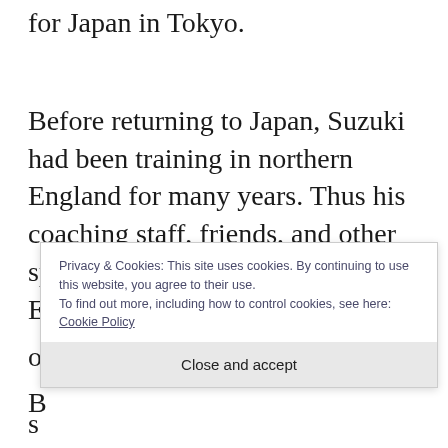for Japan in Tokyo.
Before returning to Japan, Suzuki had been training in northern England for many years. Thus his coaching staff, friends, and other sporting people he met in northern England are over the moon after Suzuki won gold in the 100
Privacy & Cookies: This site uses cookies. By continuing to use this website, you agree to their use. To find out more, including how to control cookies, see here: Cookie Policy
Close and accept
B
s